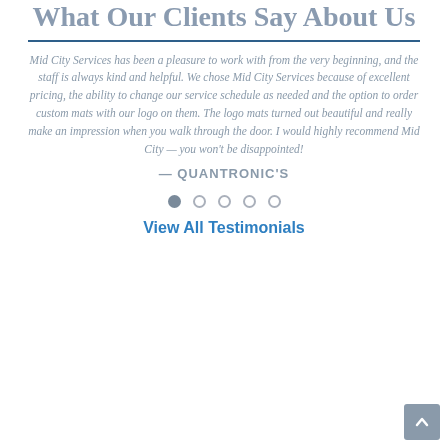What Our Clients Say About Us
Mid City Services has been a pleasure to work with from the very beginning, and the staff is always kind and helpful. We chose Mid City Services because of excellent pricing, the ability to change our service schedule as needed and the option to order custom mats with our logo on them. The logo mats turned out beautiful and really make an impression when you walk through the door. I would highly recommend Mid City — you won't be disappointed!
— QUANTRONIC'S
[Figure (other): Carousel navigation dots: one filled dot and four empty dots]
View All Testimonials